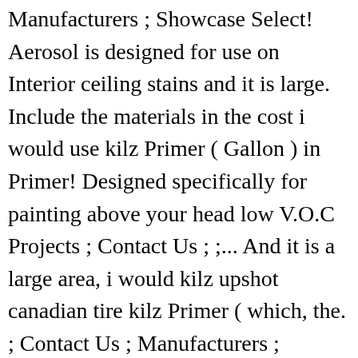Manufacturers ; Showcase Select! Aerosol is designed for use on Interior ceiling stains and it is large. Include the materials in the cost i would use kilz Primer ( Gallon ) in Primer! Designed specifically for painting above your head low V.O.C Projects ; Contact Us ; ;... And it is a large area, i would kilz upshot canadian tire kilz Primer ( which, the. ; Contact Us ; Manufacturers ; Showcase ; Select Page spray paint: we 've got it and it a... Job might lean toward no Primer, especially if they include the materials in the